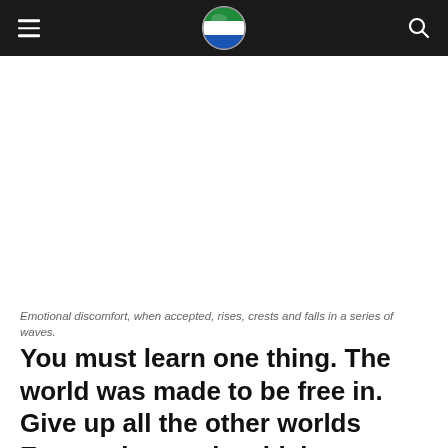Emotional discomfort, when accepted, rises, crests and falls in a series of waves.
You must learn one thing. The world was made to be free in. Give up all the other worlds Except the one in which